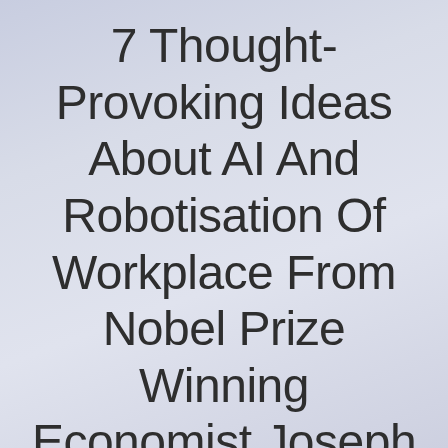7 Thought-Provoking Ideas About AI And Robotisation Of Workplace From Nobel Prize Winning Economist Joseph